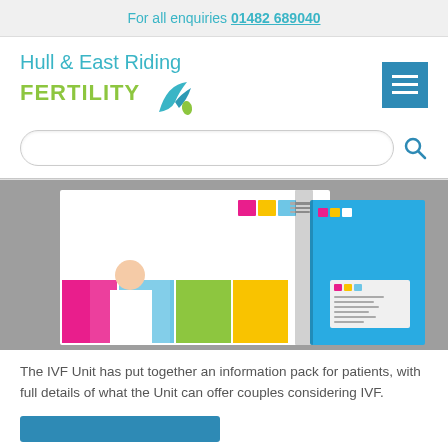For all enquiries 01482 689040
[Figure (logo): Hull & East Riding Fertility logo with teal and green text and decorative bird/leaf icon]
[Figure (screenshot): Mobile website screenshot showing a search bar with rounded corners and a teal search icon]
[Figure (photo): Photo of printed marketing materials including a white folder/letterhead and a teal brochure with MYA branding and photos of medical staff]
The IVF Unit has put together an information pack for patients, with full details of what the Unit can offer couples considering IVF.